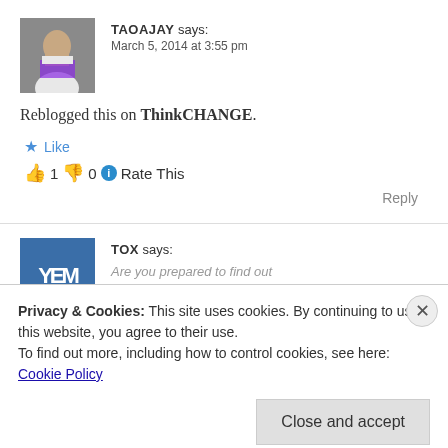[Figure (photo): Profile photo of TAOAJAY, a man in white shirt and purple scarf with arms crossed]
TAOAJAY says:
March 5, 2014 at 3:55 pm
Reblogged this on ThinkCHANGE.
Like
👍 1 👎 0 ℹ Rate This
Reply
[Figure (illustration): Avatar for TOX commenter, stylized letters Y, E, M in blue]
TOX says:
Privacy & Cookies: This site uses cookies. By continuing to use this website, you agree to their use.
To find out more, including how to control cookies, see here: Cookie Policy
Close and accept
Advertisements
AUTOMATTIC
Build a better web and a better world.